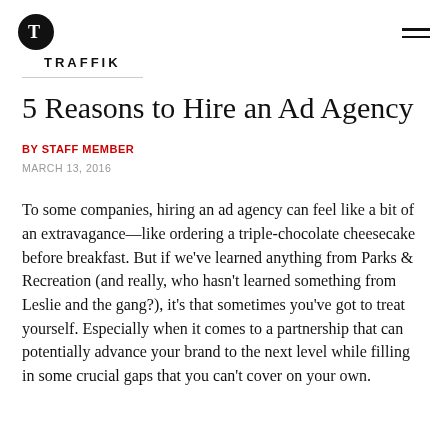TRAFFIK
5 Reasons to Hire an Ad Agency
BY STAFF MEMBER
MARCH 13, 2016
To some companies, hiring an ad agency can feel like a bit of an extravagance—like ordering a triple-chocolate cheesecake before breakfast. But if we've learned anything from Parks & Recreation (and really, who hasn't learned something from Leslie and the gang?), it's that sometimes you've got to treat yourself. Especially when it comes to a partnership that can potentially advance your brand to the next level while filling in some crucial gaps that you can't cover on your own.